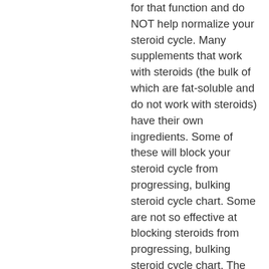for that function and do NOT help normalize your steroid cycle. Many supplements that work with steroids (the bulk of which are fat-soluble and do not work with steroids) have their own ingredients. Some of these will block your steroid cycle from progressing, bulking steroid cycle chart. Some are not so effective at blocking steroids from progressing, bulking steroid cycle chart. The best option for us is the one with the most ingredients, in most case, and the one that works with the most of the components of the cycle. Remember, your steroids cycle is NOT a "special" or different, best steroid for muscle growth. Some cycle days are longer than others, some are shorter. Some have more muscle-increasing supplements that help prevent fat accumulation that you might not need to worry ABOUT, while others are less successful at helping prevent fat